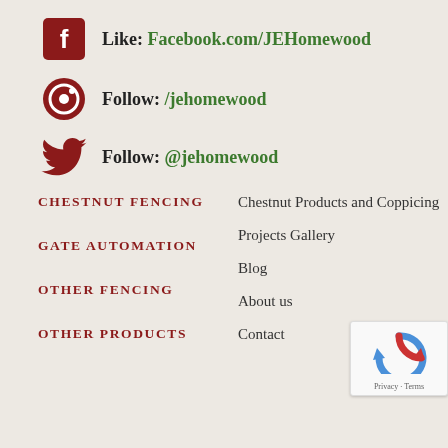Like: Facebook.com/JEHomewood
Follow: /jehomewood
Follow: @jehomewood
CHESTNUT FENCING
Chestnut Products and Coppicing
GATE AUTOMATION
Projects Gallery
Blog
OTHER FENCING
About us
OTHER PRODUCTS
Contact
[Figure (logo): reCAPTCHA badge with Privacy and Terms link]